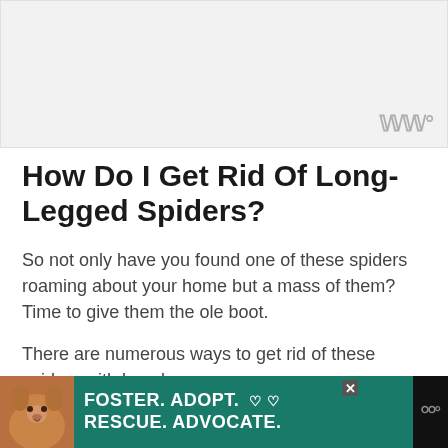[Figure (other): Advertisement banner placeholder (gray background)]
How Do I Get Rid Of Long-Legged Spiders?
So not only have you found one of these spiders roaming about your home but a mass of them? Time to give them the ole boot.
There are numerous ways to get rid of these spiders with long legs.
You can also...
[Figure (other): Bottom advertisement banner: dog photo on left, teal background with text FOSTER. ADOPT. ♡ ♡ / RESCUE. ADVOCATE. and X close button, followed by watermark logo on right black bar]